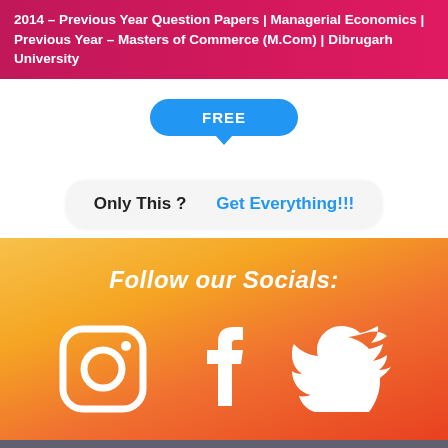2014 – Previous Year Question Papers | Managerial Economics | Previous Year – Masters of Commerce (M.Com) | Dibrugarh University
FREE
Only This ?   Get Everything!!!
Follow our Socials:
[Figure (illustration): Instagram, Facebook, and Twitter social media icons in white on orange-red gradient background]